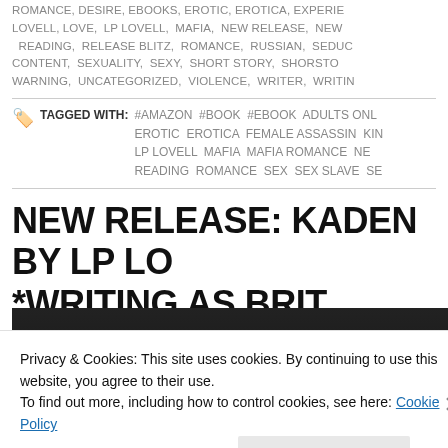ROMANCE, DESIRE, EBOOKS, EROTIC, EROTICA, EXPERIENCE, LOVELL, LOVE, LP LOVELL, MAFIA, NEW RELEASE, NEW READING, RELEASE BLITZ, ROMANCE, RUSSIAN, SEDUCTIVE CONTENT, SEXUALITY, SEXY, SHORT STORY, SHORTSTORY, WARNING, UNCATEGORIZED, VIOLENCE, WRITER, WRITING
TAGGED WITH: #AMAZON #BOOK #EBOOK ADULTS ONLY EROTIC EROTICA FEMALE ASSASSIN KINDLE LP LOVELL MAFIA MAFIA ROMANCE NEW READING ROMANCE SEX SEX SLAVE SE...
NEW RELEASE: KADEN BY LP LOVELL *WRITING AS BRIT LAUREN*
[Figure (photo): Dark/black image bar below the title]
Privacy & Cookies: This site uses cookies. By continuing to use this website, you agree to their use.
To find out more, including how to control cookies, see here: Cookie Policy
Close and accept